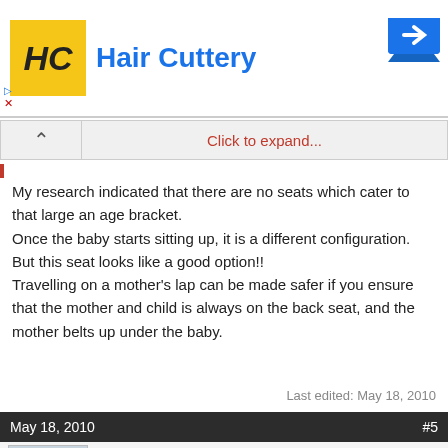[Figure (other): Hair Cuttery advertisement banner with yellow HC logo and blue arrow sign]
Click to expand...
My research indicated that there are no seats which cater to that large an age bracket.
Once the baby starts sitting up, it is a different configuration.
But this seat looks like a good option!!
Travelling on a mother's lap can be made safer if you ensure that the mother and child is always on the back seat, and the mother belts up under the baby.
Last edited: May 18, 2010
May 18, 2010   #5
Akash
Core Team
If those seats dont cost a bomb then going for one is a good deal since it is for safety and convenience of your wife and baby, no matter if its of no use after some months.